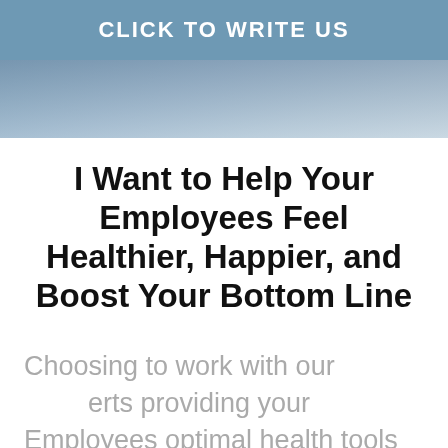CLICK TO WRITE US
[Figure (photo): Blurred background photo showing office chairs or furniture with a blue-gray tinted overlay]
I Want to Help Your Employees Feel Healthier, Happier, and Boost Your Bottom Line
Choosing to work with our Experts providing your Employees optimal health tools